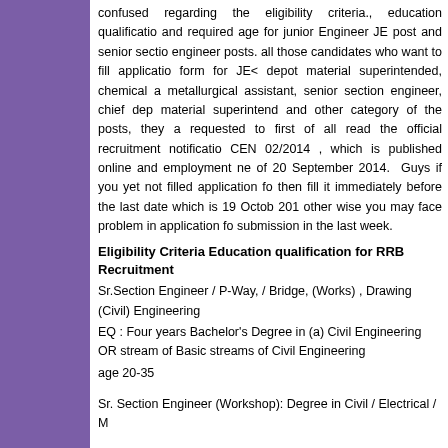confused regarding the eligibility criteria., education qualifications and required age for junior Engineer JE post and senior section engineer posts. all those candidates who want to fill application form for JE< depot material superintended, chemical and metallurgical assistant, senior section engineer, chief depot material superintend and other category of the posts, they are requested to first of all read the official recruitment notification CEN 02/2014 , which is published online and employment news of 20 September 2014. Guys if you yet not filled application form then fill it immediately before the last date which is 19 October 201 other wise you may face problem in application form submission in the last week.
Eligibility Criteria Education qualification for RRB Recruitment
Sr.Section Engineer / P-Way, / Bridge, (Works) , Drawing (Civil) Engineering
EQ : Four years Bachelor's Degree in (a) Civil Engineering OR stream of Basic streams of Civil Engineering
age 20-35
Sr. Section Engineer (Workshop): Degree in Civil / Electrical / M
Sr.Section Engineer Carriage & Wagon , Mechanical, (Mechanical Engineer / Dsl Mechanical , , / Dsl Electrical , Mechanical/Sr.Sect.BC & AB, CRT Workshop and Printing